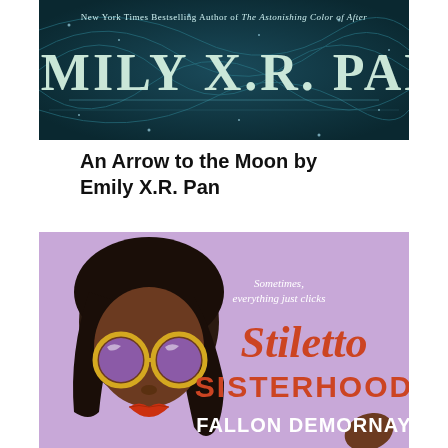[Figure (illustration): Book cover for 'An Arrow to the Moon' by Emily X.R. Pan. Dark teal background with swirling patterns and large stylized text 'EMILY X.R. PAN' at the top. Text reads 'New York Times Bestselling Author of The Astonishing Color of After'.]
An Arrow to the Moon by Emily X.R. Pan
[Figure (illustration): Book cover for 'Stiletto Sisterhood' by Fallon DeMornay. Purple background with an illustrated Black woman wearing round purple sunglasses and red lipstick on the left side. Italic script 'Stiletto' in coral/orange and bold 'SISTERHOOD' below it. Author name 'FALLON DEMORNAY' in white bold text. Tagline 'Sometimes, everything just clicks' in white at the top right.]